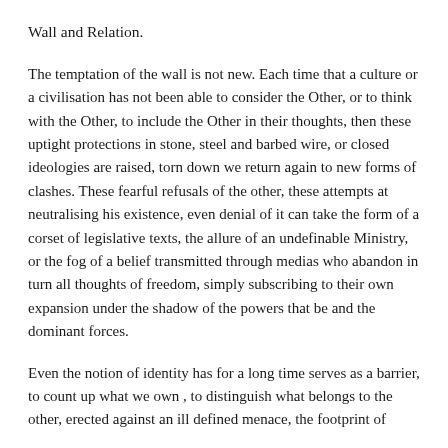Wall and Relation.
The temptation of the wall is not new. Each time that a culture or a civilisation has not been able to consider the Other, or to think with the Other, to include the Other in their thoughts, then these uptight protections in stone, steel and barbed wire, or closed ideologies are raised, torn down we return again to new forms of clashes. These fearful refusals of the other, these attempts at neutralising his existence, even denial of it can take the form of a corset of legislative texts, the allure of an undefinable Ministry, or the fog of a belief transmitted through medias who abandon in turn all thoughts of freedom, simply subscribing to their own expansion under the shadow of the powers that be and the dominant forces.
Even the notion of identity has for a long time serves as a barrier, to count up what we own , to distinguish what belongs to the other, erected against an ill defined menace, the footprint of